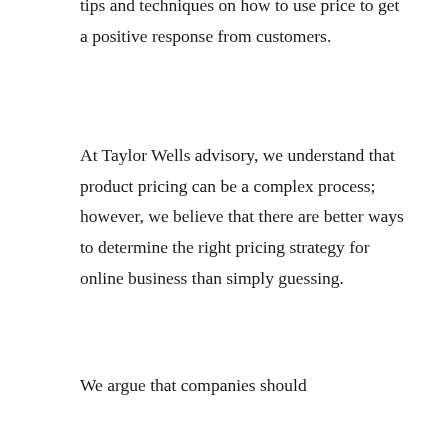tips and techniques on how to use price to get a positive response from customers.
At Taylor Wells advisory, we understand that product pricing can be a complex process; however, we believe that there are better ways to determine the right pricing strategy for online business than simply guessing.
We argue that companies should